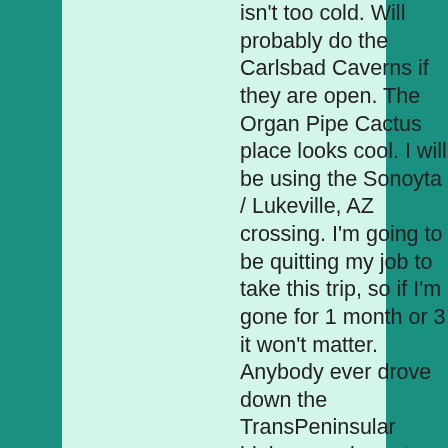isn't too cold. Will probably do the Carlsbad Caverns if they are open. The Organ Pipe Cactus place looks cool. I will be using the Sonoyta / Lukeville, AZ crossing. I'm going to be quitting my job to take this trip, so if I'm gone for 1 month or 3 it won't matter. Anybody ever drove down the TransPeninsular highway or been to the Baja Peninsula; and does anyone have any suggestions on anywhere to stop at (US or Mexico)? Sort of thinking about going to Paquime (Nvo Casas Grandes, CHIH) and Cayuma, CHIH on the